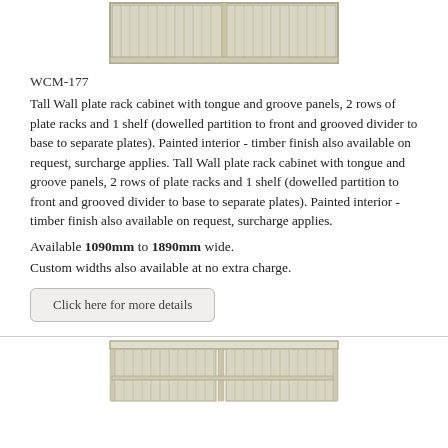[Figure (illustration): Top portion of a tall wall plate rack cabinet with tongue and groove panels, cream/off-white finish, showing vertical grooved panels and shelf structure]
WCM-177
Tall Wall plate rack cabinet with tongue and groove panels, 2 rows of plate racks and 1 shelf (dowelled partition to front and grooved divider to base to separate plates). Painted interior - timber finish also available on request, surcharge applies. Tall Wall plate rack cabinet with tongue and groove panels, 2 rows of plate racks and 1 shelf (dowelled partition to front and grooved divider to base to separate plates). Painted interior - timber finish also available on request, surcharge applies.
Available 1090mm to 1890mm wide.
Custom widths also available at no extra charge.
Click here for more details
[Figure (illustration): Bottom portion of a wall cabinet with tongue and groove panels, cream/off-white finish, showing open shelving with vertical grooved back panels]